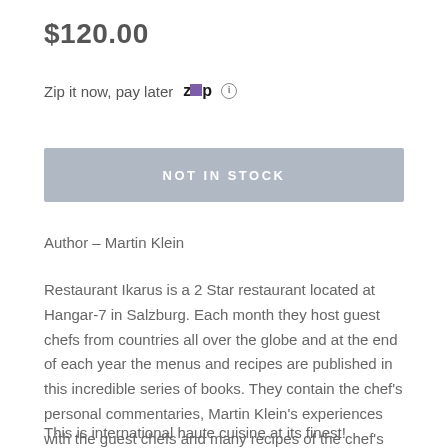$120.00
Zip it now, pay later  ZIP  ℹ
NOT IN STOCK
Author - Martin Klein
Restaurant Ikarus is a 2 Star restaurant located at Hangar-7 in Salzburg. Each month they host guest chefs from countries all over the globe and at the end of each year the menus and recipes are published in this incredible series of books. They contain the chef's personal commentaries, Martin Klein's experiences with the guest chefs and many recipes of the chef's menus especially arranged for Restaurant Ikarus.
This is international haute cuisine at its finest!